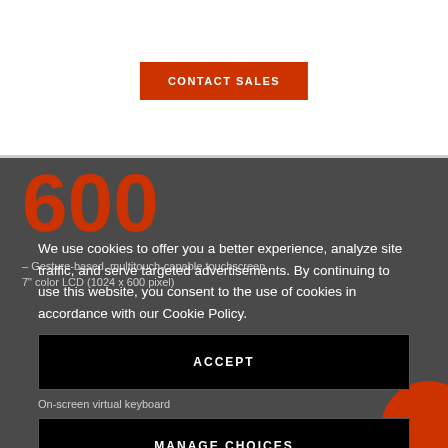[Figure (other): White top section of a product page with CONTACT SALES button in red/orange]
600
– Gesture-based, multitouch-capable touchscreen
7" color LCD (1024 x 600 pixel)
We use cookies to offer you a better experience, analyze site traffic, and serve targeted advertisements. By continuing to use this website, you consent to the use of cookies in accordance with our Cookie Policy.
ACCEPT
On-screen virtual keyboard
MANAGE CHOICES
Adjustable base height
One USB type A port (3.0 compliant) for media and storage applications